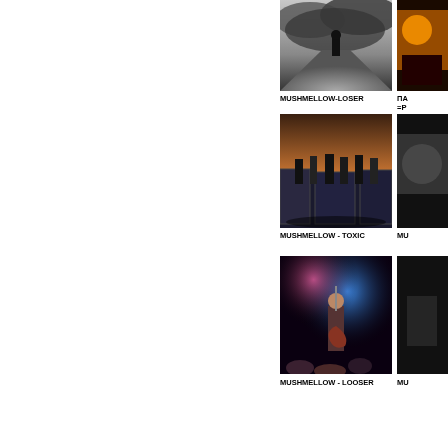[Figure (photo): Black and white photo of a lone figure standing on a road under dramatic cloudy sky]
MUSHMELLOW-LOSER
[Figure (photo): Partially visible photo on right, cut off]
ПА =Р
[Figure (photo): Band performing near a train at dusk/sunset with dancers]
MUSHMELLOW - TOXIC
[Figure (photo): Partially visible right column photo, cut off]
MU
[Figure (photo): Concert photo with guitarist under blue stage lights and crowd]
MUSHMELLOW - LOOSER
[Figure (photo): Partially visible right column photo, cut off]
MU